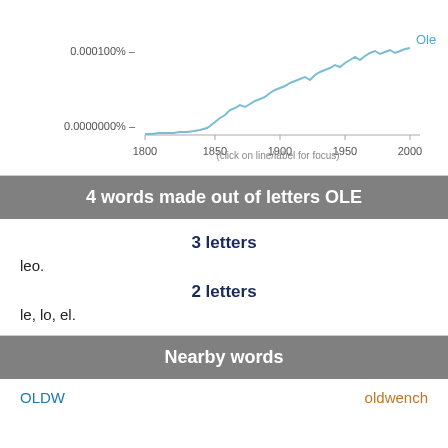[Figure (line-chart): Google Ngram style line chart showing frequency of 'Ole' from 1800 to 2000, starting near 0 and rising sharply around 1950-2000.]
4 words made out of letters OLE
3 letters
leo.
2 letters
le, lo, el.
Nearby words
OLDW
oldwench